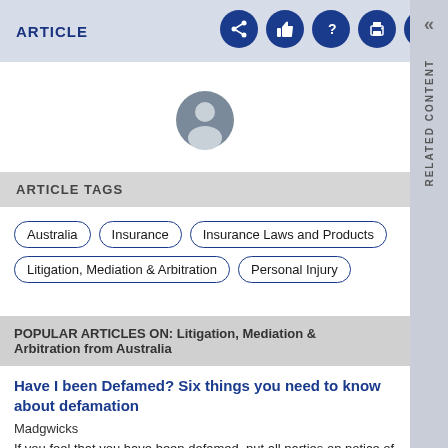ARTICLE
[Figure (illustration): User avatar/profile icon — grey circular silhouette of a person]
ARTICLE TAGS
Australia
Insurance
Insurance Laws and Products
Litigation, Mediation & Arbitration
Personal Injury
POPULAR ARTICLES ON: Litigation, Mediation & Arbitration from Australia
Have I been Defamed? Six things you need to know about defamation
Madgwicks
If you feel that you have been defamed, put all parties on notice of the defamatory material as soon as possible.